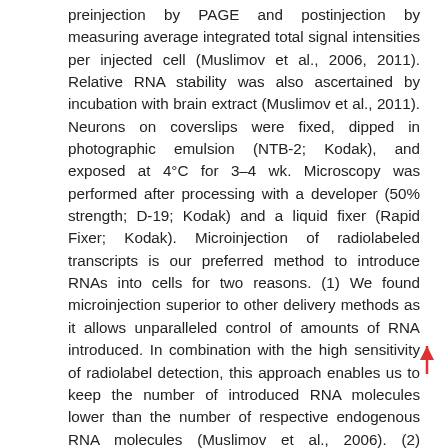preinjection by PAGE and postinjection by measuring average integrated total signal intensities per injected cell (Muslimov et al., 2006, 2011). Relative RNA stability was also ascertained by incubation with brain extract (Muslimov et al., 2011). Neurons on coverslips were fixed, dipped in photographic emulsion (NTB-2; Kodak), and exposed at 4°C for 3–4 wk. Microscopy was performed after processing with a developer (50% strength; D-19; Kodak) and a liquid fixer (Rapid Fixer; Kodak). Microinjection of radiolabeled transcripts is our preferred method to introduce RNAs into cells for two reasons. (1) We found microinjection superior to other delivery methods as it allows unparalleled control of amounts of RNA introduced. In combination with the high sensitivity of radiolabel detection, this approach enables us to keep the number of introduced RNA molecules lower than the number of respective endogenous RNA molecules (Muslimov et al., 2006). (2) Microinjection of radiolabeled RNAs is preferred because architectural GA motifs are intolerant of nucleotide substitutions (Goody et al., 2004), and introduced side chains (such as fluorophores) may sterically interfere with motif structure and cause altered targeting (Muslimov et al., 2011). We have also shown that labeled